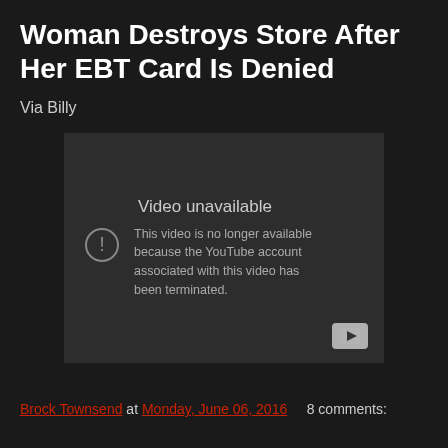Woman Destroys Store After Her EBT Card Is Denied
Via Billy
[Figure (screenshot): Embedded YouTube video player showing 'Video unavailable' error. Message reads: 'This video is no longer available because the YouTube account associated with this video has been terminated.' A warning icon (circle with exclamation mark) and YouTube play button icon are visible.]
Brock Townsend at Monday, June 06, 2016   8 comments: